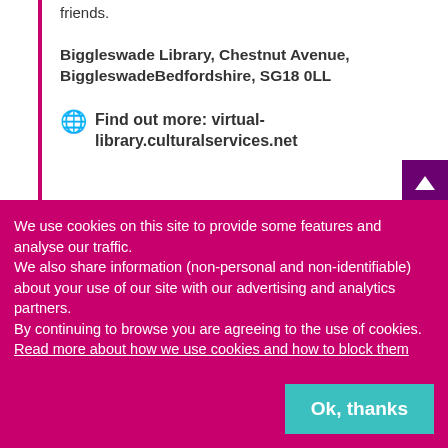friends.
Biggleswade Library, Chestnut Avenue, BiggleswadeBedfordshire, SG18 0LL
Find out more: virtual-library.culturalservices.net
We use cookies on this site to provide some features and analyse our traffic.
We also share information (non-personal and non-identifiable) about your use of our site with our advertising and analytics partners.
By continuing to browse you are agreeing to the use of cookies. Read more about how we use cookies and how to block them
Ok, thanks